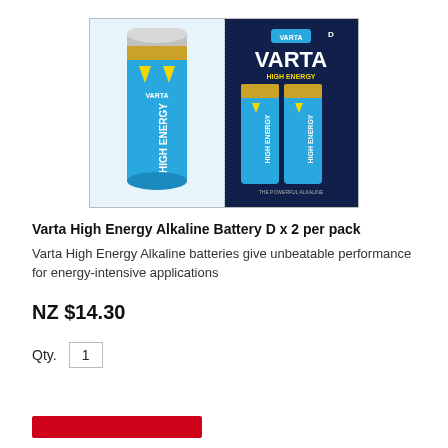[Figure (photo): Product photo showing a Varta High Energy Alkaline Battery D-size on the left and a 2-pack blister package on the right, with blue and yellow branding.]
Varta High Energy Alkaline Battery D x 2 per pack
Varta High Energy Alkaline batteries give unbeatable performance for energy-intensive applications
NZ $14.30
Qty. 1